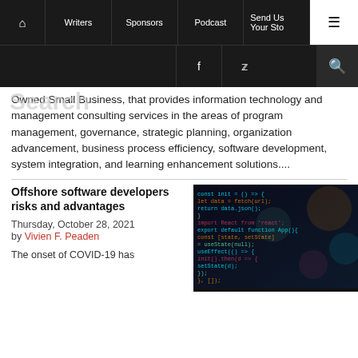Home | Writers | Sponsors | Podcast | Send Us Your Story | Menu
Facebook | Twitter | Instagram | RSS
Search
Owned Small Business, that provides information technology and management consulting services in the areas of program management, governance, strategic planning, organization advancement, business process efficiency, software development, system integration, and learning enhancement solutions....
Offshore software developers risks and advantages
Thursday, October 28, 2021
by Vivien F. Peaden
The onset of COVID-19 has
[Figure (photo): Dark image of computer code on a screen with colorful highlights in teal, orange, and purple tones]